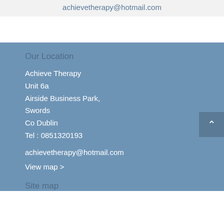achievetherapy@hotmail.com
Our Location
Achieve Therapy
Unit 6a
Airside Business Park,
Swords
Co Dublin
Tel : 0851320193
achievetherapy@hotmail.com
View map >
Site map